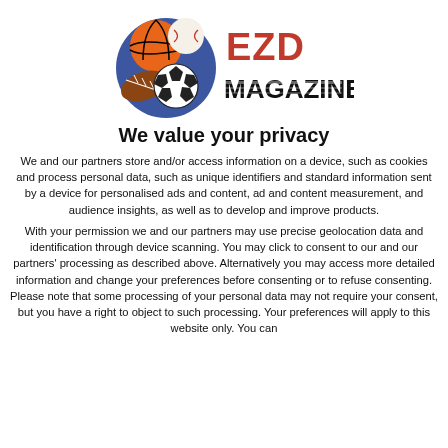[Figure (logo): EZD Magazine logo with sports balls (basketball, baseball, football, soccer ball) and text 'EZD MAGAZINE']
We value your privacy
We and our partners store and/or access information on a device, such as cookies and process personal data, such as unique identifiers and standard information sent by a device for personalised ads and content, ad and content measurement, and audience insights, as well as to develop and improve products.
With your permission we and our partners may use precise geolocation data and identification through device scanning. You may click to consent to our and our partners' processing as described above. Alternatively you may access more detailed information and change your preferences before consenting or to refuse consenting. Please note that some processing of your personal data may not require your consent, but you have a right to object to such processing. Your preferences will apply to this website only. You can